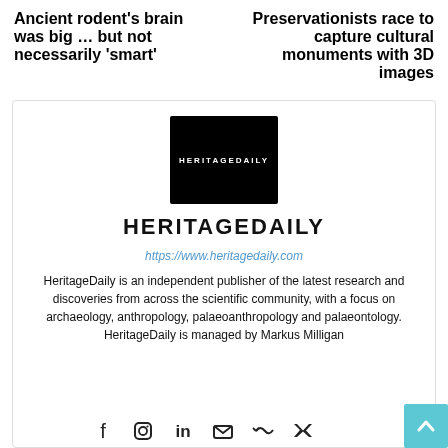Ancient rodent’s brain was big … but not necessarily ‘smart’
Preservationists race to capture cultural monuments with 3D images
[Figure (logo): HeritageDaily logo: black square with white HERITAGEDAILY text]
HERITAGEDAILY
https://www.heritagedaily.com
HeritageDaily is an independent publisher of the latest research and discoveries from across the scientific community, with a focus on archaeology, anthropology, palaeoanthropology and palaeontology. HeritageDaily is managed by Markus Milligan
[Figure (infographic): Social media icons: Facebook, Instagram, LinkedIn, Email, RSS, Twitter]